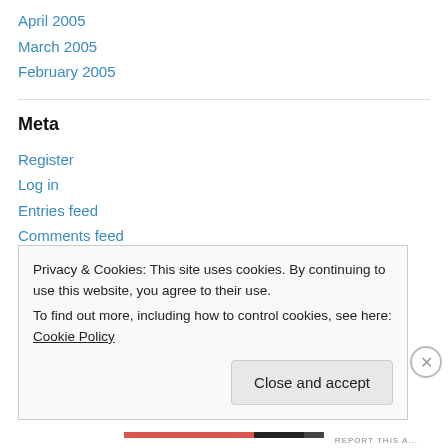April 2005
March 2005
February 2005
Meta
Register
Log in
Entries feed
Comments feed
WordPress.com
Privacy & Cookies: This site uses cookies. By continuing to use this website, you agree to their use.
To find out more, including how to control cookies, see here: Cookie Policy
Close and accept